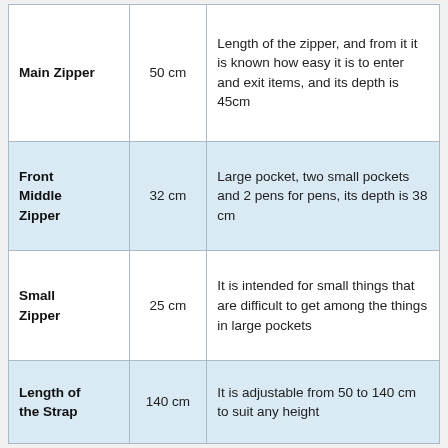| Feature | Measurement | Description |
| --- | --- | --- |
| Main Zipper | 50 cm | Length of the zipper, and from it it is known how easy it is to enter and exit items, and its depth is 45cm |
| Front Middle Zipper | 32 cm | Large pocket, two small pockets and 2 pens for pens, its depth is 38 cm |
| Small Zipper | 25 cm | It is intended for small things that are difficult to get among the things in large pockets |
| Length of the Strap | 140 cm | It is adjustable from 50 to 140 cm to suit any height |